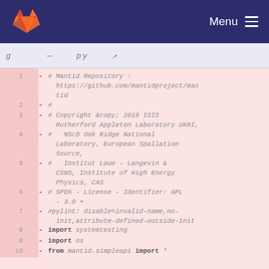[Figure (screenshot): GitLab navigation bar with orange fox logo on dark blue/navy background and Menu hamburger icon on right]
— py [icon]
1  - # Mantid Repository : https://github.com/mantidproject/mantid
2  - #
3  - # Copyright &copy; 2018 ISIS Rutherford Appleton Laboratory UKRI,
4  - #   NScD Oak Ridge National Laboratory, European Spallation Source,
5  - #   Institut Laue - Langevin & CSNS, Institute of High Energy Physics, CAS
6  - # SPDX - License - Identifier: GPL - 3.0 +
7  - #pylint: disable=invalid-name,no-init,attribute-defined-outside-init
8  - import systemtesting
9  - import os
10 - from mantid.simpleapi import *